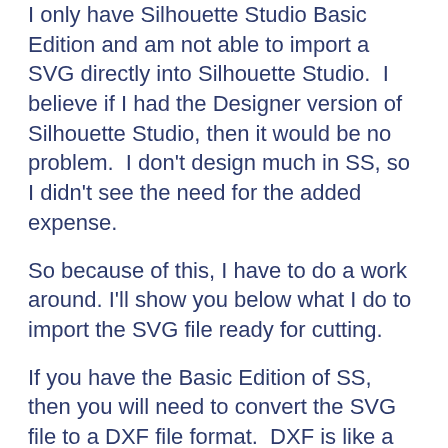I only have Silhouette Studio Basic Edition and am not able to import a SVG directly into Silhouette Studio.  I believe if I had the Designer version of Silhouette Studio, then it would be no problem.  I don't design much in SS, so I didn't see the need for the added expense.
So because of this, I have to do a work around. I'll show you below what I do to import the SVG file ready for cutting.
If you have the Basic Edition of SS, then you will need to convert the SVG file to a DXF file format.  DXF is like a generic cut file format.
I do this by bringing the svg file into Adobe Illustrator, which is a design program in the Adobe Creative Cloud Suite.